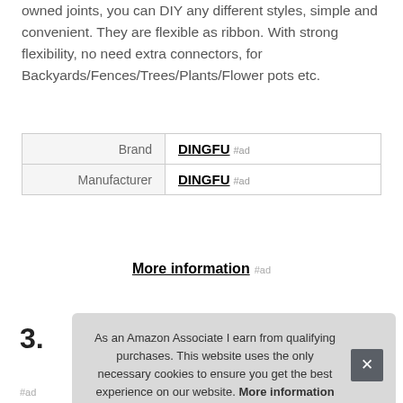owned joints, you can DIY any different styles, simple and convenient. They are flexible as ribbon. With strong flexibility, no need extra connectors, for Backyards/Fences/Trees/Plants/Flower pots etc.
|  |  |
| --- | --- |
| Brand | DINGFU #ad |
| Manufacturer | DINGFU #ad |
More information #ad
3.
As an Amazon Associate I earn from qualifying purchases. This website uses the only necessary cookies to ensure you get the best experience on our website. More information
#ad